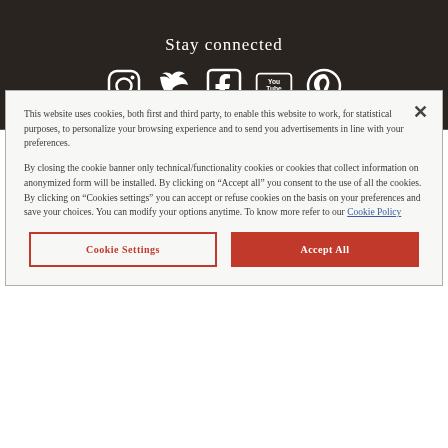Stay connected
[Figure (infographic): Social media icons: Instagram, Twitter, Facebook, YouTube, Pinterest]
This website uses cookies, both first and third party, to enable this website to work, for statistical purposes, to personalize your browsing experience and to send you advertisements in line with your preferences.
By closing the cookie banner only technical/functionality cookies or cookies that collect information on anonymized form will be installed. By clicking on “Accept all” you consent to the use of all the cookies. By clicking on “Cookies settings” you can accept or refuse cookies on the basis on your preferences and save your choices. You can modify your options anytime. To know more refer to our Cookie Policy
Cookie Settings | Accept All